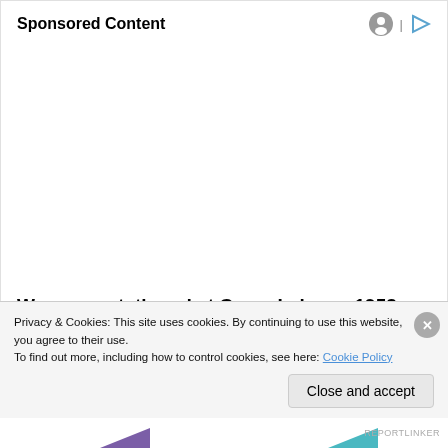Sponsored Content
[Figure (other): Sponsored content advertisement area — blank white space placeholder for ad]
Were you stationed at Camp Lejeune 1953-1987?
Privacy & Cookies: This site uses cookies. By continuing to use this website, you agree to their use.
To find out more, including how to control cookies, see here: Cookie Policy
Close and accept